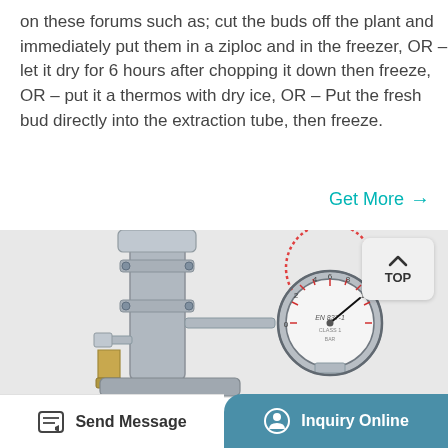on these forums such as; cut the buds off the plant and immediately put them in a ziploc and in the freezer, OR – let it dry for 6 hours after chopping it down then freeze, OR – put it a thermos with dry ice, OR – Put the fresh bud directly into the extraction tube, then freeze.
Get More →
[Figure (photo): Close-up photo of a stainless steel extraction or pressure apparatus with a circular pressure gauge labeled EN 837-1 and markings for BAR and PSI units. A brass fitting and various bolts and connectors are visible.]
Send Message   Inquiry Online